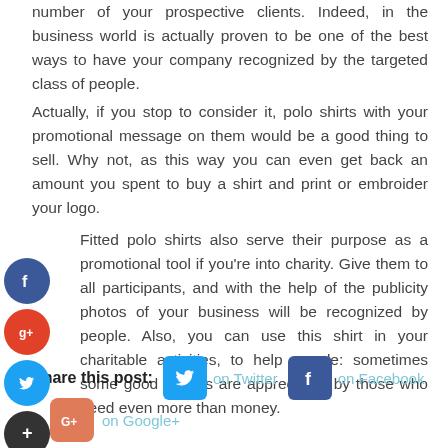number of your prospective clients. Indeed, in the business world is actually proven to be one of the best ways to have your company recognized by the targeted class of people.
Actually, if you stop to consider it, polo shirts with your promotional message on them would be a good thing to sell. Why not, as this way you can even get back an amount you spent to buy a shirt and print or embroider your logo.
Fitted polo shirts also serve their purpose as a promotional tool if you're into charity. Give them to all participants, and with the help of the publicity photos of your business will be recognized by people. Also, you can use this shirt in your charitable activities, to help people: sometimes some good clothes are appreciated by those who need even more than money.
Share this post:   on Twitter   on Facebook   on Google+